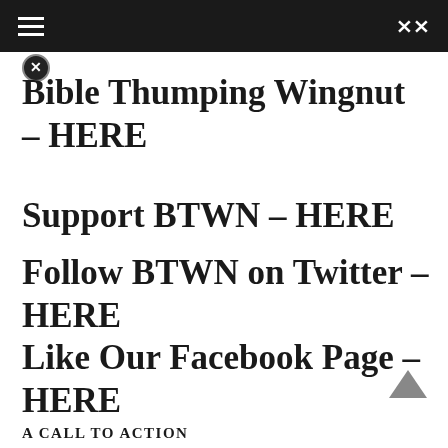≡  ⇌
Bible Thumping Wingnut – HERE
Support BTWN – HERE
Follow BTWN on Twitter – HERE
Like Our Facebook Page – HERE
A CALL TO ACTION